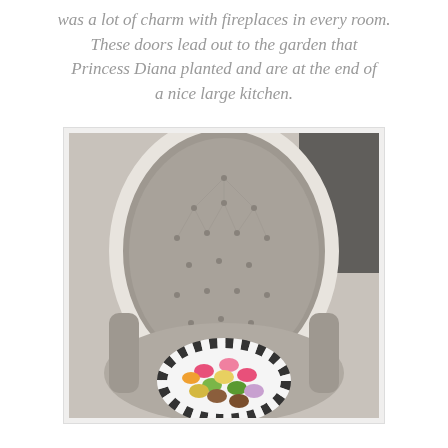was a lot of charm with fireplaces in every room. These doors lead out to the garden that Princess Diana planted and are at the end of a nice large kitchen.
[Figure (photo): A tufted upholstered armchair in grey/taupe fabric with a white trim frame. On the seat of the chair sits a round plate with a black and white checkered border, holding an assortment of colorful French macarons in pink, green, yellow, brown, and other colors.]